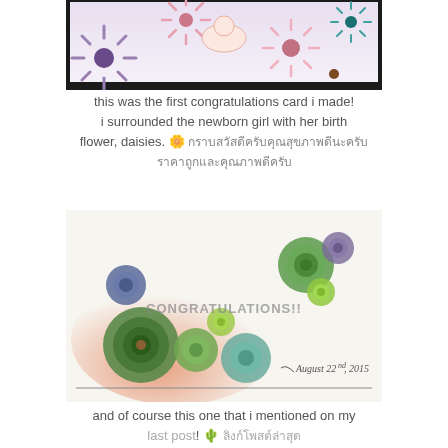[Figure (photo): Top portion of a hand-drawn congratulations card showing a newborn baby girl wrapped in pink surrounded by colorful daisy flowers, on a dark framed background.]
this was the first congratulations card i made! i surrounded the newborn girl with her birth flower, daisies. 🌼 [Japanese/Thai text characters]
[Figure (photo): A congratulations card with hand-drawn succulents in green and blue-purple shades arranged diagonally on an orange background strip, with the text 'CONGRATULATIONS!!' in the center and 'August 22nd, 2015' written in script at the bottom right.]
and of course this one that i mentioned on my last post! 🌵 [Thai text characters]